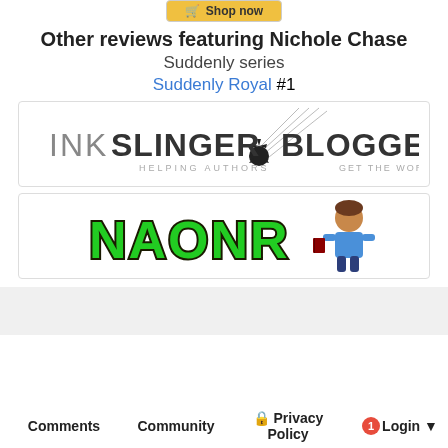[Figure (screenshot): Shop Now button banner at top]
Other reviews featuring Nichole Chase
Suddenly series
Suddenly Royal #1
[Figure (logo): Inkslinger Blogger logo - helping authors get the word out]
[Figure (logo): NAONR blog logo with graffiti-style green text and cartoon female figure]
[Figure (screenshot): Gray band / advertisement area]
Comments   Community   Privacy Policy   1   Login